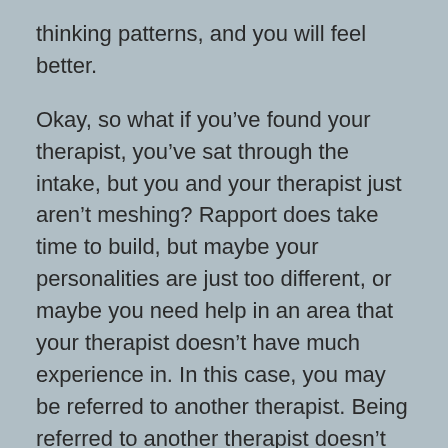thinking patterns, and you will feel better.

Okay, so what if you've found your therapist, you've sat through the intake, but you and your therapist just aren't meshing? Rapport does take time to build, but maybe your personalities are just too different, or maybe you need help in an area that your therapist doesn't have much experience in. In this case, you may be referred to another therapist. Being referred to another therapist doesn't mean that you were a bad client. It just means that there is someone else who would be better able to help you. At my college's health center, I did one session with a male counselor. After that session, we both agreed that I would make more progress if I talked to one of the female counselors instead. I didn't dislike the male counselor, but we both understood that it would be